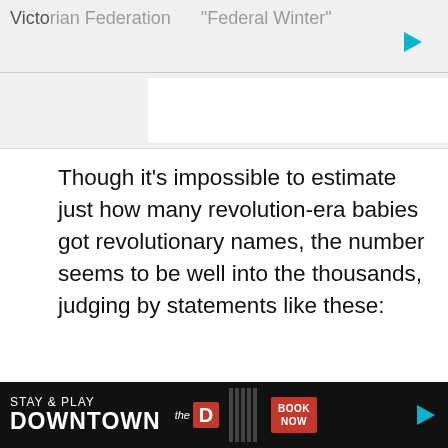Victo[rian Federation "Federal Winter"]
Though it's impossible to estimate just how many revolution-era babies got revolutionary names, the number seems to be well into the thousands, judging by statements like these:
"[I]n the winter and spring of 1794 at least 60 per cent of children received revolutionary
We use cookies on our website to give you the most relevant experience by remembering your preferences and repeat visits. By clicking "Accept", you consent to the use of ALL the cookies.
Do not sell my personal information.
[Figure (infographic): Bottom advertisement banner: STAY & PLAY DOWNTOWN, the D Las Vegas, BOOK NOW button, with vertical stripe pattern and play button icon]